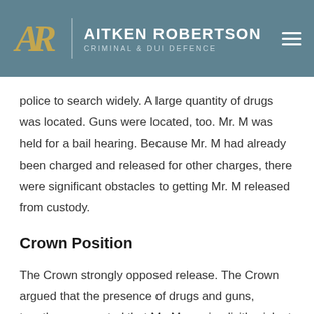AITKEN ROBERTSON CRIMINAL & DUI DEFENCE
police to search widely. A large quantity of drugs was located. Guns were located, too. Mr. M was held for a bail hearing. Because Mr. M had already been charged and released for other charges, there were significant obstacles to getting Mr. M released from custody.
Crown Position
The Crown strongly opposed release. The Crown argued that the presence of drugs and guns, together, suggested that Mr. M was implicitly violent and too dangerous to release during litigation.